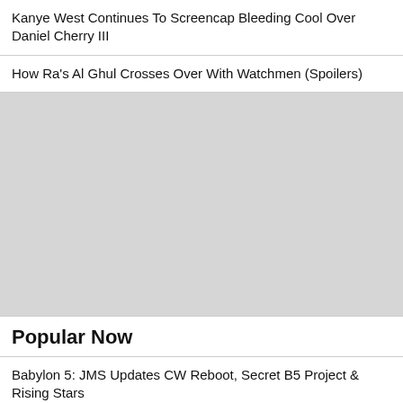Kanye West Continues To Screencap Bleeding Cool Over Daniel Cherry III
How Ra's Al Ghul Crosses Over With Watchmen (Spoilers)
[Figure (illustration): Large grey placeholder image block]
Popular Now
Babylon 5: JMS Updates CW Reboot, Secret B5 Project & Rising Stars
Batman Beyond Reprises *That* Scene From Batman Year